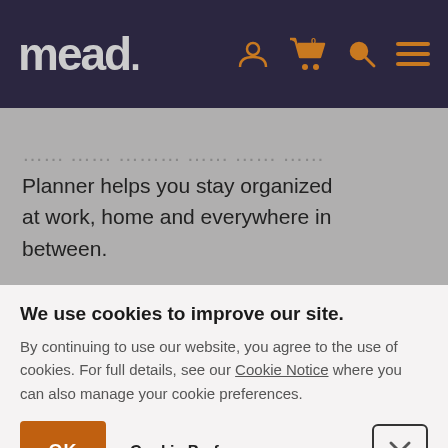[Figure (screenshot): Mead website header with logo and navigation icons (user, cart with 0, search, menu) on dark purple background]
Planner helps you stay organized at work, home and everywhere in between.
[Figure (screenshot): Add to Cart button with dropdown arrow on brown/orange background]
[Figure (screenshot): Social share icons: Facebook, Twitter, LinkedIn, Pinterest, Email on grey background]
We use cookies to improve our site.
By continuing to use our website, you agree to the use of cookies. For full details, see our Cookie Notice where you can also manage your cookie preferences.
OK
Cookie Preferences